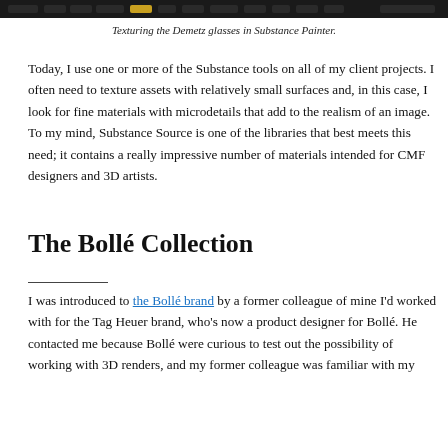[Figure (screenshot): Screenshot of a dark-themed application interface showing the Demetz glasses being textured in Substance Painter, with a toolbar and 3D model visible.]
Texturing the Demetz glasses in Substance Painter.
Today, I use one or more of the Substance tools on all of my client projects. I often need to texture assets with relatively small surfaces and, in this case, I look for fine materials with microdetails that add to the realism of an image. To my mind, Substance Source is one of the libraries that best meets this need; it contains a really impressive number of materials intended for CMF designers and 3D artists.
The Bollé Collection
I was introduced to the Bollé brand by a former colleague of mine I'd worked with for the Tag Heuer brand, who's now a product designer for Bollé. He contacted me because Bollé were curious to test out the possibility of working with 3D renders, and my former colleague was familiar with my